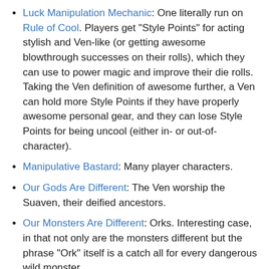Luck Manipulation Mechanic: One literally run on Rule of Cool. Players get "Style Points" for acting stylish and Ven-like (or getting awesome blowthrough successes on their rolls), which they can use to power magic and improve their die rolls. Taking the Ven definition of awesome further, a Ven can hold more Style Points if they have properly awesome personal gear, and they can lose Style Points for being uncool (either in- or out-of-character).
Manipulative Bastard: Many player characters.
Our Gods Are Different: The Ven worship the Suaven, their deified ancestors.
Our Monsters Are Different: Orks. Interesting case, in that not only are the monsters different but the phrase "Ork" itself is a catch all for every dangerous wild monster.
Politically Correct History: In John Wick's constructed history of the Ven, he notes that the "real" Ven were terribly sexist, but that their own literature tended to portray women as being on equal footing with men, and